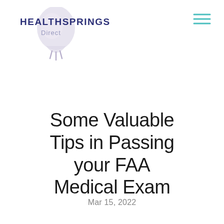[Figure (logo): HealthSprings Direct logo with stylized heart/droplet shape in light purple and text 'HEALTHSPRINGS Direct' in dark navy blue and grey]
[Figure (other): Hamburger menu icon (three horizontal lines) in teal/cyan color]
Some Valuable Tips in Passing your FAA Medical Exam
Mar 15, 2022